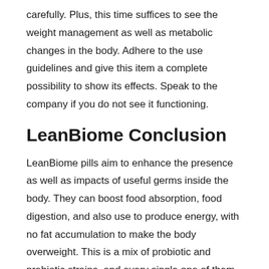carefully. Plus, this time suffices to see the weight management as well as metabolic changes in the body. Adhere to the use guidelines and give this item a complete possibility to show its effects. Speak to the company if you do not see it functioning.
LeanBiome Conclusion
LeanBiome pills aim to enhance the presence as well as impacts of useful germs inside the body. They can boost food absorption, food digestion, and also use to produce energy, with no fat accumulation to make the body overweight. This is a mix of probiotic and prebiotic strains, and every single one of them has clinical evidence of its effectiveness.
There is no way this supplement can go wrong for an individual, but if the customer is miserable, he can get a complete reimbursement within 180 days of purchase. If you have determined to give it a try, do not assume anymore and also check